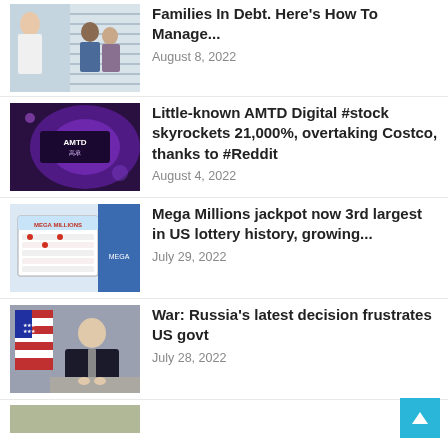[Figure (photo): Two people in a consultation with a person in a white coat, seated, in an office with blinds]
Families In Debt. Here's How To Manage...
August 8, 2022
[Figure (photo): AMTD Digital illuminated sign with purple/blue lighting in a dark room]
Little-known AMTD Digital #stock skyrockets 21,000%, overtaking Costco, thanks to #Reddit
August 4, 2022
[Figure (photo): Mega Millions lottery tickets with red text on white/blue background]
Mega Millions jackpot now 3rd largest in US lottery history, growing...
July 29, 2022
[Figure (photo): Man in dark suit seated in front of US flag, appearing to be a government official]
War: Russia's latest decision frustrates US govt
July 28, 2022